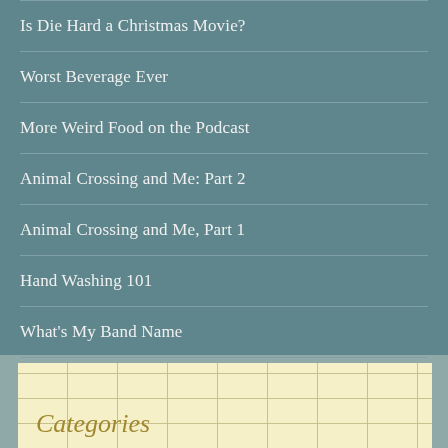Is Die Hard a Christmas Movie?
Worst Beverage Ever
More Weird Food on the Podcast
Animal Crossing and Me: Part 2
Animal Crossing and Me, Part 1
Hand Washing 101
What's My Band Name
The Big W
Categories